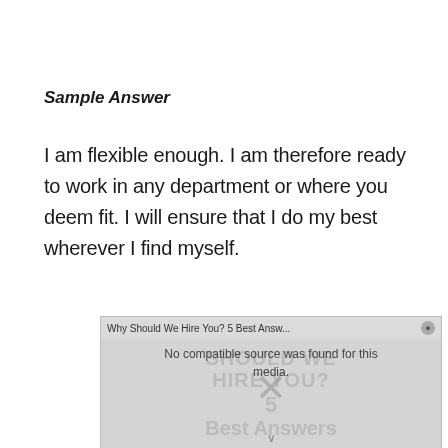Sample Answer
I am flexible enough. I am therefore ready to work in any department or where you deem fit. I will ensure that I do my best wherever I find myself.
[Figure (screenshot): Video player overlay showing 'Why Should We Hire You? 5 Best Answ...' with a 'No compatible source was found for this media.' error message and a close button. Background shows text 'SHOULD WE HIRE YOU? 5 Best Answers' with an X dismiss icon and a person's image faintly visible.]